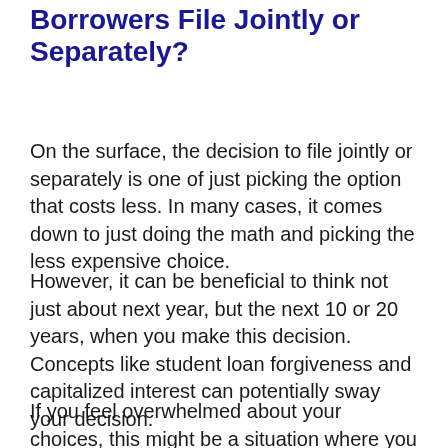Borrowers File Jointly or Separately?
On the surface, the decision to file jointly or separately is one of just picking the option that costs less. In many cases, it comes down to just doing the math and picking the less expensive choice.
However, it can be beneficial to think not just about next year, but the next 10 or 20 years, when you make this decision. Concepts like student loan forgiveness and capitalized interest can potentially sway your decision.
If you feel overwhelmed about your choices, this might be a situation where you do all the